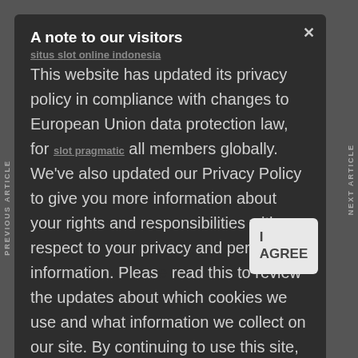A note to our visitors
situs slot online indonesia
This website has updated its privacy policy in compliance with changes to European Union data protection law, for all members globally. We've also updated our Privacy Policy to give you more information about your rights and responsibilities with respect to your privacy and personal information. Please read this to review the updates about which cookies we use and what information we collect on our site. By continuing to use this site, you are agreeing to our updated p
[Figure (screenshot): I AGREE button overlay]
[Figure (screenshot): Need Help? chat bubble with green chat button]